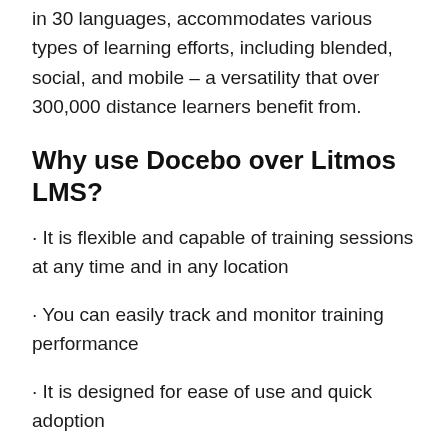in 30 languages, accommodates various types of learning efforts, including blended, social, and mobile – a versatility that over 300,000 distance learners benefit from.
Why use Docebo over Litmos LMS?
· It is flexible and capable of training sessions at any time and in any location
· You can easily track and monitor training performance
· It is designed for ease of use and quick adoption